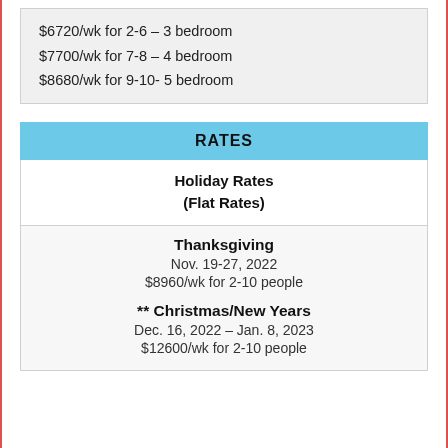| $6720/wk for 2-6 – 3 bedroom |
| $7700/wk for 7-8 – 4 bedroom |
| $8680/wk for 9-10- 5 bedroom |
RATES
Holiday Rates
(Flat Rates)
Thanksgiving
Nov. 19-27, 2022
$8960/wk for 2-10 people
** Christmas/New Years
Dec. 16, 2022 – Jan. 8, 2023
$12600/wk for 2-10 people